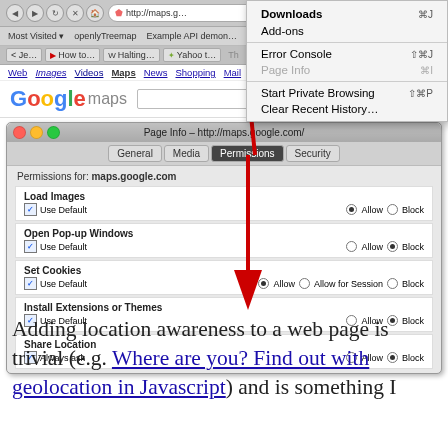[Figure (screenshot): Firefox browser screenshot showing Google Maps page info permissions dialog with 'Share Location' highlighted by a red arrow, and a browser dropdown menu showing Downloads, Add-ons, Error Console, Page Info, Start Private Browsing, Clear Recent History options]
Adding location awareness to a web page is trivial (e.g. Where are you? Find out with geolocation in Javascript) and is something I